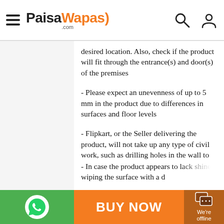PaisaWapas.com
desired location. Also, check if the product will fit through the entrance(s) and door(s) of the premises
- Please expect an unevenness of up to 5 mm in the product due to differences in surfaces and floor levels
- Flipkart, or the Seller delivering the product, will not take up any type of civil work, such as drilling holes in the wall to mount the product. The product will only be assembled in case carpentry assembly is required
- In case the product appears to lack shine, wiping the surface with a d